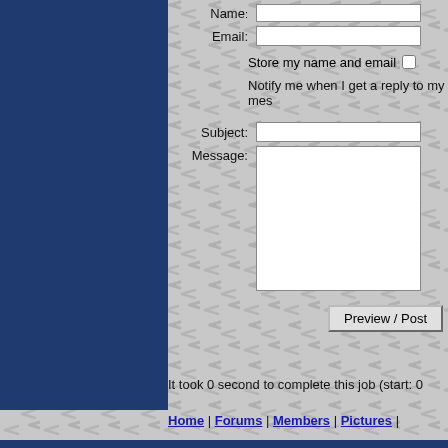Email:
Store my name and email
Notify me when I get a reply to my mes
Subject:
Message:
Preview / Post
It took 0 second to complete this job (start: 0
Home | Forums | Members | Pictures |